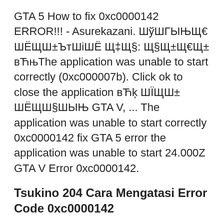GTA 5 How to fix 0xc0000142 ERROR!!! - Asurekazani. ШўШГЫЊЩ€ ШЁЩШ±ЪтШiШЁ Щ‡Щ§: Щ§Щ±Щ€Щ± вЋњThe application was unable to start correctly (0xc000007b). Click ok to close the application вЋķ ШЇЩШ± ШЁЩШ§ШЫЊ GTA V, ... The application was unable to start correctly 0xc0000142 fix GTA 5 error the application was unable to start 24.000Z GTA V Error 0xc0000142.
Tsukino 204 Cara Mengatasi Error Code 0xc0000142
[FIXED] Game just will not run. Missing DLL's Mad. 0xc0000142 gta v ,